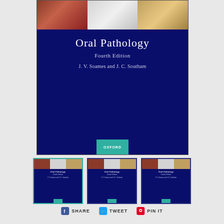[Figure (photo): Book cover of Oral Pathology Fourth Edition by J. V. Soames and J. C. Southam, Oxford University Press. Dark navy blue cover with three medical photographs at top and Oxford teal tab at bottom.]
Oral Pathology
Fourth Edition
J. V. Soames and J. C. Southam
[Figure (photo): Three thumbnail previews of the book cover, first one highlighted with teal border.]
SHARE   TWEET   PIN IT